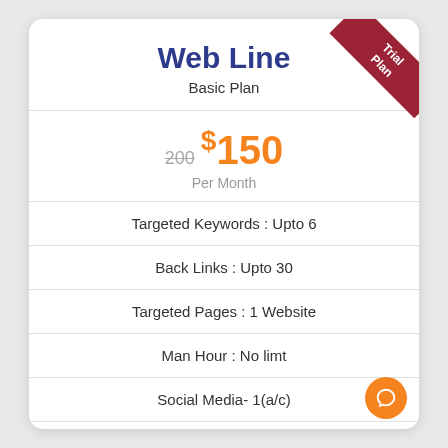Web Line
Basic Plan
200 $150 Per Month
Targeted Keywords : Upto 6
Back Links : Upto 30
Targeted Pages : 1 Website
Man Hour : No limt
Social Media- 1(a/c)